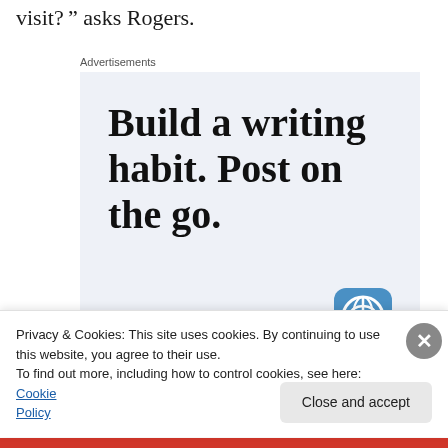visit?' asks Rogers.
[Figure (screenshot): Advertisement box with light blue-grey background. Large serif text reads 'Build a writing habit. Post on the go.' Below is a call-to-action link 'GET THE APP' in blue uppercase letters, and a WordPress logo icon in a rounded blue square at the bottom right.]
Privacy & Cookies: This site uses cookies. By continuing to use this website, you agree to their use.
To find out more, including how to control cookies, see here: Cookie Policy